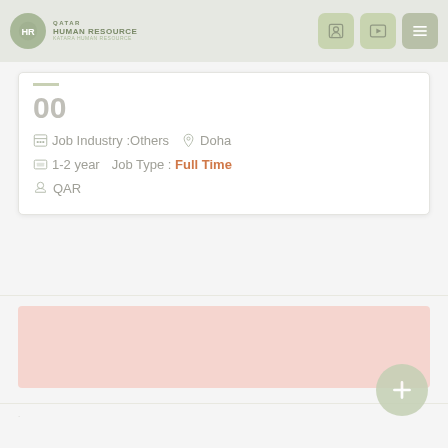[Figure (logo): Qatar Human Resource logo with circular icon and text]
[Figure (screenshot): Navigation icons: profile, media, menu]
00
Job Industry :Others   Doha
1-2 year   Job Type :  Full Time
QAR
[Figure (infographic): Pink/salmon colored banner section]